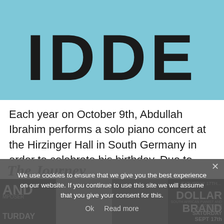[Figure (photo): Light blue background with large bold dark letters 'IDDE' or similar partial text visible at bottom of image area]
Each year on October 9th, Abdullah Ibrahim performs a solo piano concert at the Hirzinger Hall in South Germany in order to celebrate his birthday. Due to lockdown restrictions last year, this traditional birthday concert was replaced with the opportunity to record a solo piano performance. Hirzinger Hall,  in Riedering, South East Germany, is famous for its incredible acoustics, […]
The Journey
We use cookies to ensure that we give you the best experience on our website. If you continue to use this site we will assume that you give your consent for this.
Ok   Read more
[Figure (photo): Row of concert/event posters including Dollar Brand South African pianist and composer, Saturday Sept 17th]